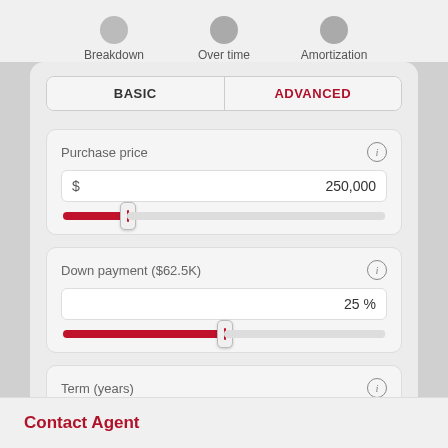Breakdown
Over time
Amortization
BASIC
ADVANCED
Purchase price
$ 250,000
Down payment ($62.5K)
25 %
Term (years)
30
Contact Agent